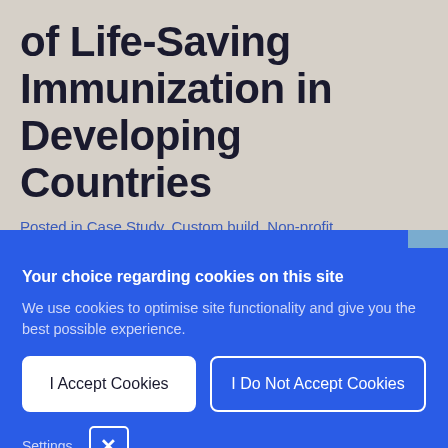of Life-Saving Immunization in Developing Countries
Posted in Case Study, Custom build, Non-profit, Prescriptive Analytics, Social Good
Your choice regarding cookies on this site
We use cookies to optimise site functionality and give you the best possible experience.
I Accept Cookies
I Do Not Accept Cookies
Settings